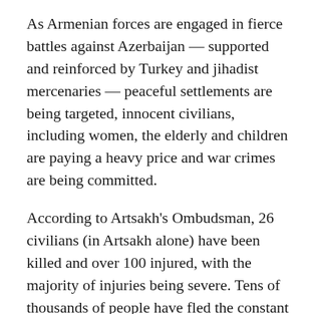As Armenian forces are engaged in fierce battles against Azerbaijan — supported and reinforced by Turkey and jihadist mercenaries — peaceful settlements are being targeted, innocent civilians, including women, the elderly and children are paying a heavy price and war crimes are being committed.
According to Artsakh's Ombudsman, 26 civilians (in Artsakh alone) have been killed and over 100 injured, with the majority of injuries being severe. Tens of thousands of people have fled the constant shelling and are now being housed throughout Armenia. Those who remain, spend their days in bunkers. It is estimated that approximately 24,000 children are also being deprived of their education because of the